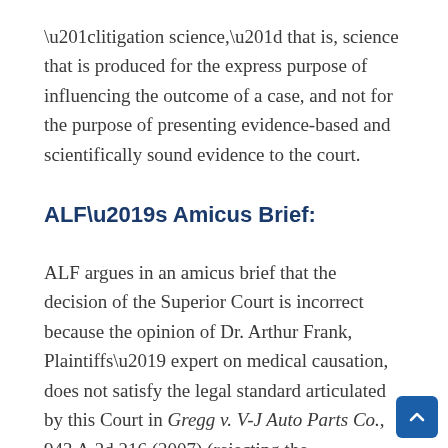“litigtion science,” that is, science that is produced for the express purpose of influencing the outcome of a case, and not for the purpose of presenting evidence-based and scientifically sound evidence to the court.
ALF’s Amicus Brief:
ALF argues in an amicus brief that the decision of the Superior Court is incorrect because the opinion of Dr. Arthur Frank, Plaintiffs’ expert on medical causation, does not satisfy the legal standard articulated by this Court in Gregg v. V-J Auto Parts Co., 943 A.2d 216 (2007) (rejecting the “fiction that each and every exposure to asbestos, no matter how